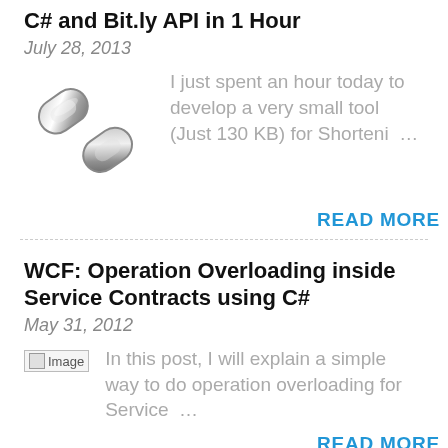C# and Bit.ly API in 1 Hour
July 28, 2013
[Figure (illustration): Chain link icon (gray metallic 3D chain links)]
I just spent an hour today to develop a very small tool (Just 130 KB) for Shorteni …
READ MORE
WCF: Operation Overloading inside Service Contracts using C#
May 31, 2012
[Figure (illustration): Broken image placeholder labeled 'Image']
In this post, I will explain a simple way to do operation overloading for Service …
READ MORE